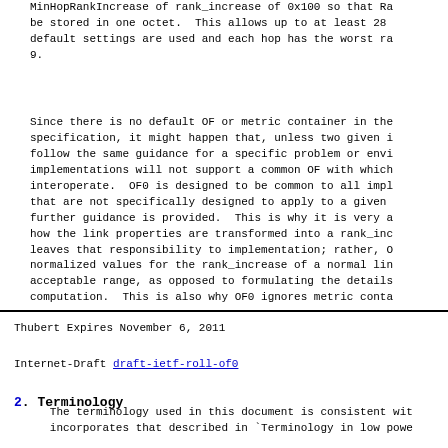MinHopRankIncrease of rank_increase of 0x100 so that rank can be stored in one octet.  This allows up to at least 28 hops when default settings are used and each hop has the worst rank_increase of 9.
Since there is no default OF or metric container in the specification, it might happen that, unless two given implementations follow the same guidance for a specific problem or environment, implementations will not support a common OF with which they can interoperate.  OF0 is designed to be common to all implementations that are not specifically designed to apply to a given environment where further guidance is provided.  This is why it is very abstract about how the link properties are transformed into a rank_increase and leaves that responsibility to implementation; rather, OF0 provides normalized values for the rank_increase of a normal link within an acceptable range, as opposed to formulating the details of that computation.  This is also why OF0 ignores metric conta
Thubert                    Expires November 6, 2011
Internet-Draft              draft-ietf-roll-of0
2.  Terminology
The terminology used in this document is consistent with and incorporates that described in `Terminology in low powe